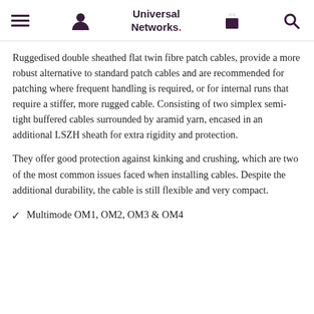Universal Networks.
Ruggedised double sheathed flat twin fibre patch cables, provide a more robust alternative to standard patch cables and are recommended for patching where frequent handling is required, or for internal runs that require a stiffer, more rugged cable. Consisting of two simplex semi-tight buffered cables surrounded by aramid yarn, encased in an additional LSZH sheath for extra rigidity and protection.
They offer good protection against kinking and crushing, which are two of the most common issues faced when installing cables. Despite the additional durability, the cable is still flexible and very compact.
Multimode OM1, OM2, OM3 & OM4